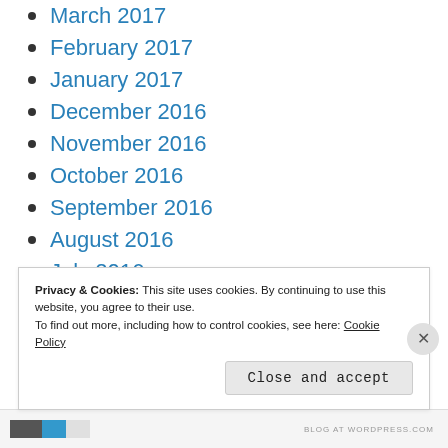March 2017
February 2017
January 2017
December 2016
November 2016
October 2016
September 2016
August 2016
July 2016
June 2016
May 2016
Privacy & Cookies: This site uses cookies. By continuing to use this website, you agree to their use.
To find out more, including how to control cookies, see here: Cookie Policy
Close and accept